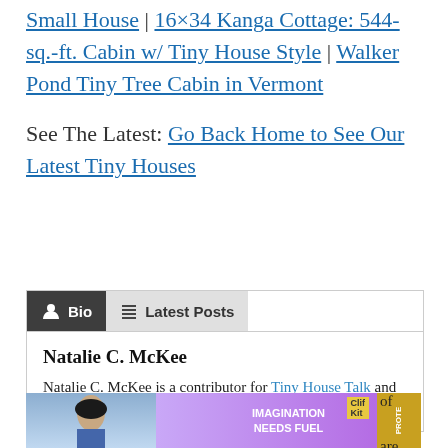Small House | 16×34 Kanga Cottage: 544-sq.-ft. Cabin w/ Tiny House Style | Walker Pond Tiny Tree Cabin in Vermont
See The Latest: Go Back Home to See Our Latest Tiny Houses
Bio | Latest Posts
Natalie C. McKee
Natalie C. McKee is a contributor for Tiny House Talk and the Tiny House ...
[Figure (photo): Advertisement banner showing a girl with text IMAGINATION NEEDS FUEL and Clif Bar protein snack product]